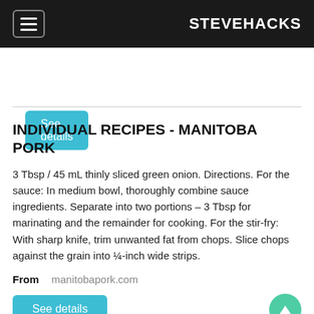STEVEHACKS
See details
INDIVIDUAL RECIPES - MANITOBA PORK
3 Tbsp / 45 mL thinly sliced green onion. Directions. For the sauce: In medium bowl, thoroughly combine sauce ingredients. Separate into two portions – 3 Tbsp for marinating and the remainder for cooking. For the stir-fry: With sharp knife, trim unwanted fat from chops. Slice chops against the grain into ¼-inch wide strips.
From    manitobapork.com
See details